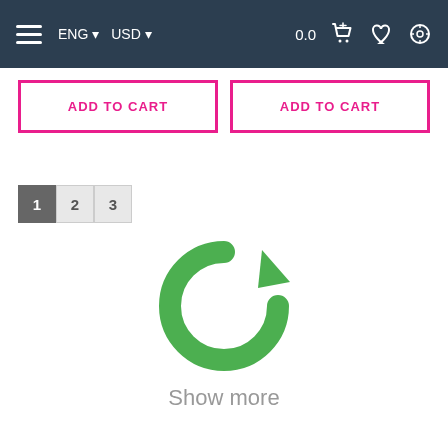ENG USD 0.0
ADD TO CART | ADD TO CART
1 2 3
[Figure (illustration): Green circular refresh/reload arrow icon pointing clockwise]
Show more